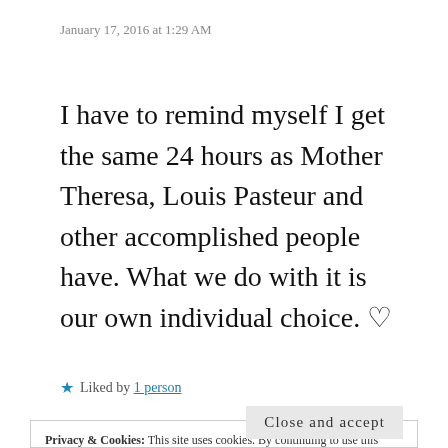January 17, 2016 at 1:29 AM
I have to remind myself I get the same 24 hours as Mother Theresa, Louis Pasteur and other accomplished people have. What we do with it is our own individual choice. ♡
★ Liked by 1 person
Privacy & Cookies: This site uses cookies. By continuing to use this website, you agree to their use. To find out more, including how to control cookies, see here: Cookie Policy
Close and accept
nimi naren